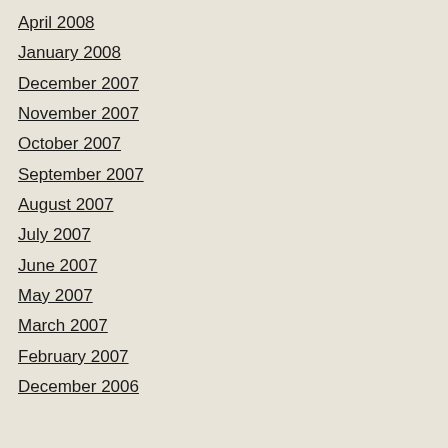April 2008
January 2008
December 2007
November 2007
October 2007
September 2007
August 2007
July 2007
June 2007
May 2007
March 2007
February 2007
December 2006